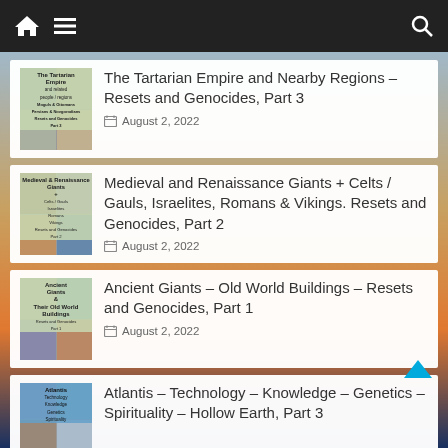Navigation bar with home, menu, and search icons
The Tartarian Empire and Nearby Regions – Resets and Genocides, Part 3 | August 2, 2022
Medieval and Renaissance Giants + Celts / Gauls, Israelites, Romans & Vikings. Resets and Genocides, Part 2 | August 2, 2022
Ancient Giants – Old World Buildings – Resets and Genocides, Part 1 | August 2, 2022
Atlantis – Technology – Knowledge – Genetics – Spirituality – Hollow Earth, Part 3